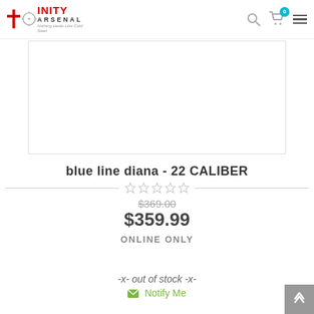Trinity Arsenal — Nothing Heals Like Cold Steel
[Figure (photo): Product image placeholder box — white rectangle with border]
blue line diana - 22 CALIBER
$369.00 (strikethrough original price)
$359.99
ONLINE ONLY
-x- out of stock -x-
Notify Me